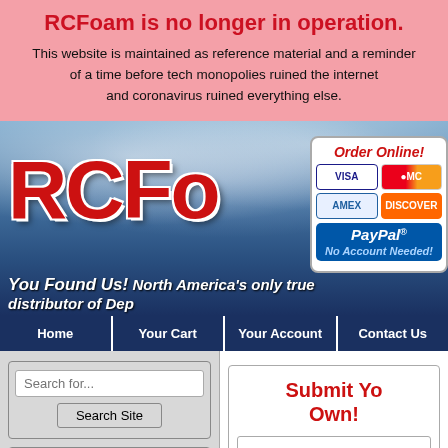RCFoam is no longer in operation.
This website is maintained as reference material and a reminder of a time before tech monopolies ruined the internet and coronavirus ruined everything else.
[Figure (screenshot): RCFoam website logo banner with sky background, large red RCFoam text, Order Online box with Visa, MasterCard, Amex, Discover, PayPal payment icons, and tagline 'You Found Us! North America's only true distributor of Dep']
Home | Your Cart | Your Account | Contact Us
Search for...
Search Site
Get It Here!
Foam
Carbon Fiber/Carbon
Submit Yo Own!
Name (optional):